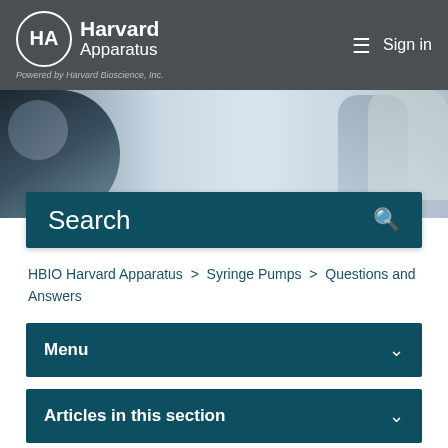Harvard Apparatus — Powered by Harvard Bioscience, Inc.
[Figure (photo): Hero banner image showing laboratory researchers working with scientific equipment and wearing masks]
Search
HBIO Harvard Apparatus > Syringe Pumps > Questions and Answers
Menu
Articles in this section